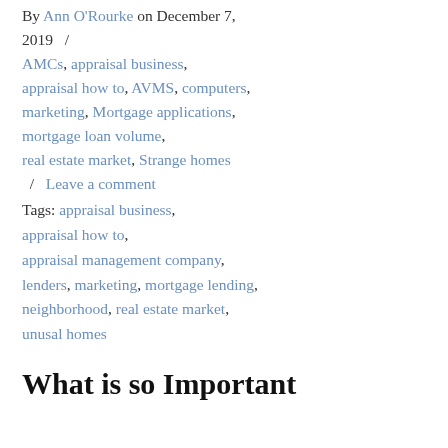By Ann O'Rourke on December 7, 2019 / AMCs, appraisal business, appraisal how to, AVMS, computers, marketing, Mortgage applications, mortgage loan volume, real estate market, Strange homes / Leave a comment
Tags: appraisal business, appraisal how to, appraisal management company, lenders, marketing, mortgage lending, neighborhood, real estate market, unusal homes
What is so Important